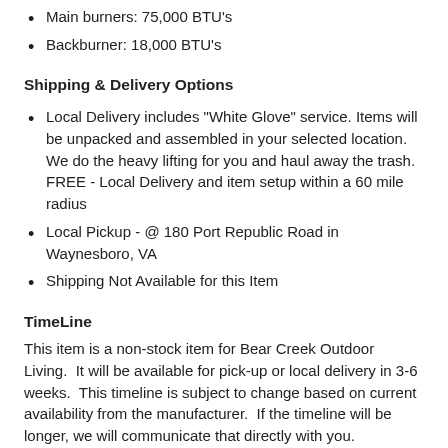Main burners: 75,000 BTU's
Backburner: 18,000 BTU's
Shipping & Delivery Options
Local Delivery includes "White Glove" service. Items will be unpacked and assembled in your selected location.  We do the heavy lifting for you and haul away the trash.  FREE - Local Delivery and item setup within a 60 mile radius
Local Pickup - @ 180 Port Republic Road in Waynesboro, VA
Shipping Not Available for this Item
TimeLine
This item is a non-stock item for Bear Creek Outdoor Living.  It will be available for pick-up or local delivery in 3-6 weeks.  This timeline is subject to change based on current availability from the manufacturer.  If the timeline will be longer, we will communicate that directly with you.